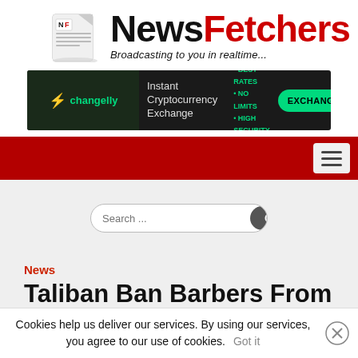[Figure (logo): NewsFetchers logo with newspaper icon and tagline 'Broadcasting to you in realtime...']
[Figure (screenshot): Changelly Instant Cryptocurrency Exchange advertisement banner with Exchange button]
[Figure (other): Red navigation bar with hamburger menu button]
[Figure (screenshot): Search bar with text 'Search ...' and Go button]
News
Taliban Ban Barbers From
Cookies help us deliver our services. By using our services, you agree to our use of cookies. Got it